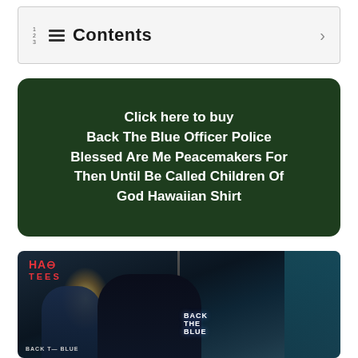Contents
Click here to buy Back The Blue Officer Police Blessed Are Me Peacemakers For Then Until Be Called Children Of God Hawaiian Shirt
[Figure (photo): Product photo showing Hawaiian shirts with 'Back The Blue' police theme design, displayed against a dark night scene background with a street light. The HAO Tees logo is visible in the upper left corner.]